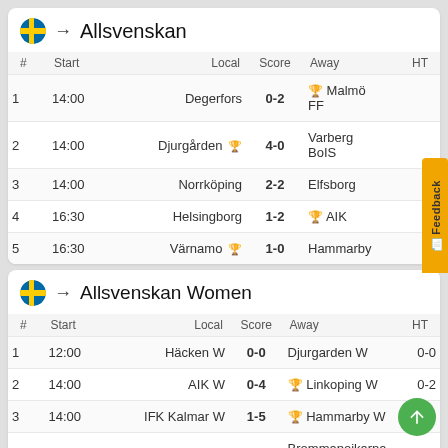Allsvenskan
| # | Start | Local | Score | Away | HT |
| --- | --- | --- | --- | --- | --- |
| 1 | 14:00 | Degerfors | 0-2 | 🏆 Malmö FF |  |
| 2 | 14:00 | Djurgården 🏆 | 4-0 | Varberg BoIS |  |
| 3 | 14:00 | Norrköping | 2-2 | Elfsborg |  |
| 4 | 16:30 | Helsingborg | 1-2 | 🏆 AIK |  |
| 5 | 16:30 | Värnamo 🏆 | 1-0 | Hammarby |  |
Allsvenskan Women
| # | Start | Local | Score | Away | HT |
| --- | --- | --- | --- | --- | --- |
| 1 | 12:00 | Häcken W | 0-0 | Djurgarden W | 0-0 |
| 2 | 14:00 | AIK W | 0-4 | 🏆 Linkoping W | 0-2 |
| 3 | 14:00 | IFK Kalmar W | 1-5 | 🏆 Hammarby W | 1-0 |
| 4 | 14:00 | Vittsjo W 🏆 | 3-0 | Brommapojkarna W |  |